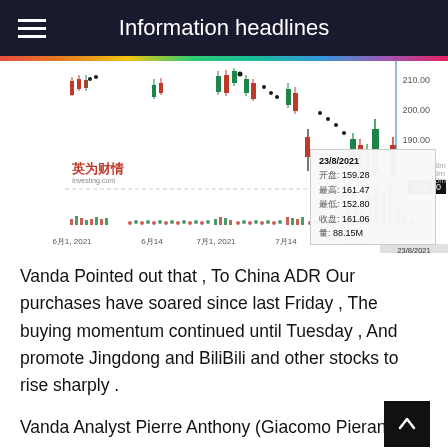Information headlines
[Figure (continuous-plot): Candlestick chart showing BiliBili (BILI) stock price from June 1, 2021 to August 23, 2021. Price range approximately 152.80 to 210.00. Tooltip shown for 23/8/2021: Open 159.28, High 161.47, Low 152.80, Close 161.06, Volume 88.15M. Current price label shows 169.10. Volume bars shown at bottom. X-axis labels: 6月1, 2021, 6月14, 7月1, 2021, 7月14, 8月2, 2021, 8月1, 23/8/2021. Y-axis: 160.00, 169.10, 180.00, 190.00, 200.00, 210.00.]
Vanda Pointed out that , To China ADR Our purchases have soared since last Friday , The buying momentum continued until Tuesday , And promote Jingdong and BiliBili and other stocks to rise sharply .
Vanda Analyst Pierre Anthony (Giacomo Pierantoni) Express , Since the stock began to callback , Retail investors have increased the intensity of bargain hunting .